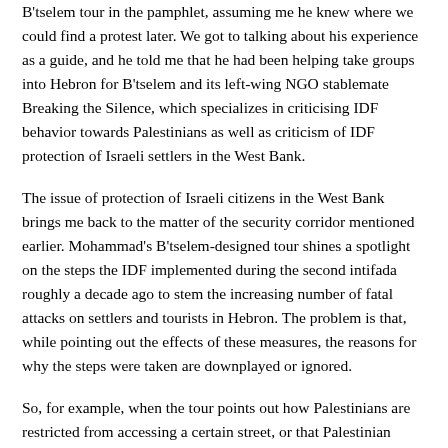B'tselem tour in the pamphlet, assuming me he knew where we could find a protest later. We got to talking about his experience as a guide, and he told me that he had been helping take groups into Hebron for B'tselem and its left-wing NGO stablemate Breaking the Silence, which specializes in criticising IDF behavior towards Palestinians as well as criticism of IDF protection of Israeli settlers in the West Bank.
The issue of protection of Israeli citizens in the West Bank brings me back to the matter of the security corridor mentioned earlier. Mohammad's B'tselem-designed tour shines a spotlight on the steps the IDF implemented during the second intifada roughly a decade ago to stem the increasing number of fatal attacks on settlers and tourists in Hebron. The problem is that, while pointing out the effects of these measures, the reasons for why the steps were taken are downplayed or ignored.
So, for example, when the tour points out how Palestinians are restricted from accessing a certain street, or that Palestinian shops on that particular street were closed, the issue of terrorism isn't discussed. It also isn't mentioned that the street is a lifeline to the Jewish neighbourhoods. What's more, it isn't mentioned, for example, that these neighbourhoods were built on Jewish-